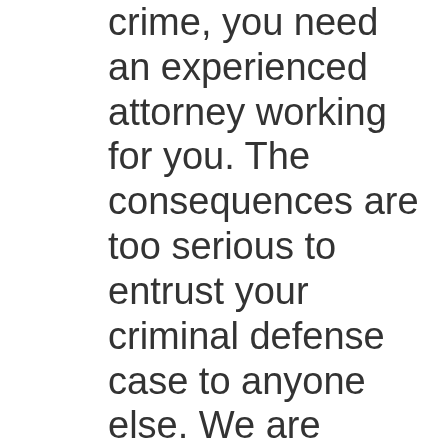crime, you need an experienced attorney working for you. The consequences are too serious to entrust your criminal defense case to anyone else. We are criminal defense attorneys